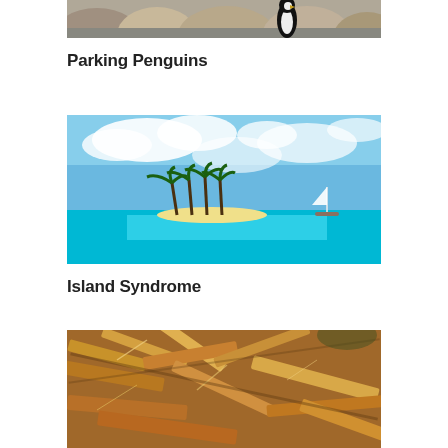[Figure (photo): Partial view of a penguin standing near large rocks on a road, cropped at top]
Parking Penguins
[Figure (photo): Tropical island scene with palm trees, white sandy beach, turquoise water, white sailboat, and blue sky with clouds]
Island Syndrome
[Figure (photo): Close-up of splintered and broken wood planks in warm brown tones, partially cropped at bottom]